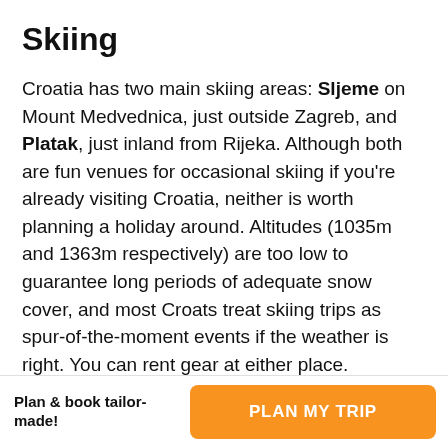Skiing
Croatia has two main skiing areas: Sljeme on Mount Medvednica, just outside Zagreb, and Platak, just inland from Rijeka. Although both are fun venues for occasional skiing if you're already visiting Croatia, neither is worth planning a holiday around. Altitudes (1035m and 1363m respectively) are too low to guarantee long periods of adequate snow cover, and most Croats treat skiing trips as spur-of-the-moment events if the weather is right. You can rent gear at either place.
Plan & book tailor-made!
PLAN MY TRIP